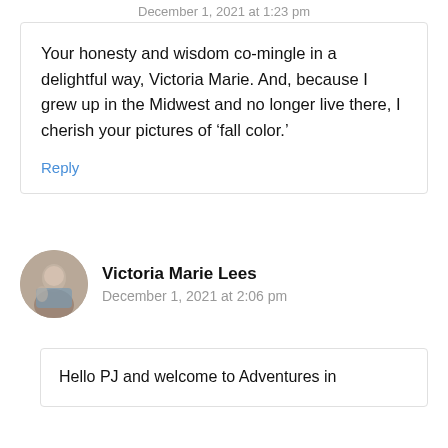December 1, 2021 at 1:23 pm
Your honesty and wisdom co-mingle in a delightful way, Victoria Marie. And, because I grew up in the Midwest and no longer live there, I cherish your pictures of ‘fall color.’
Reply
Victoria Marie Lees
December 1, 2021 at 2:06 pm
Hello PJ and welcome to Adventures in